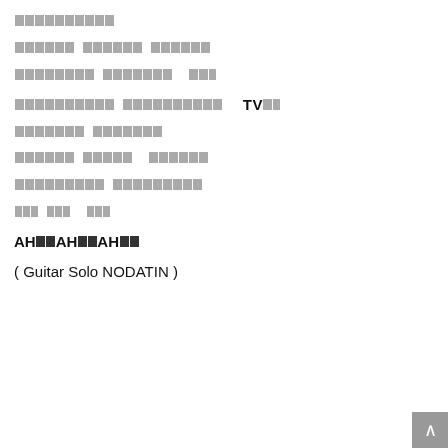[blocked text line 1]
[blocked text line 2]
[blocked text line 3]
[blocked text line 4 with TV]
[blocked text line 5]
[blocked text line 6]
[blocked text line 7]
[blocked text line 8]
AH■■AH■■AH■■
( Guitar Solo NODATIN )